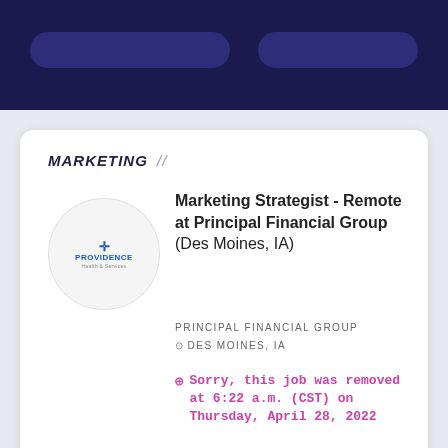MARKETING //
[Figure (logo): Providence Health & Services logo in a circular frame]
Marketing Strategist - Remote at Principal Financial Group (Des Moines, IA)
PRINCIPAL FINANCIAL GROUP
DES MOINES, IA
Sorry, this job was removed at 6:22 a.m. (CST) on Thursday, April 28, 2022
[Figure (illustration): Decorative illustration with magenta triangle shapes, dot pattern, and photo of people working together]
Find out who's hiring in Des Moines, IA.